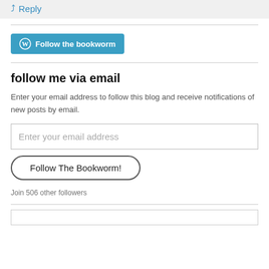Reply
[Figure (other): WordPress Follow the bookworm button in teal/blue]
follow me via email
Enter your email address to follow this blog and receive notifications of new posts by email.
Enter your email address
Follow The Bookworm!
Join 506 other followers